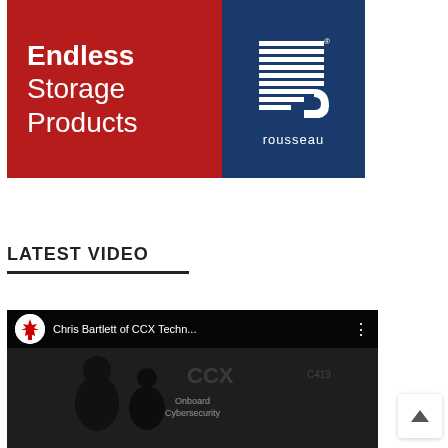[Figure (logo): Rousseau banner with red background on left showing 'Endless Storage Products' text in white, and blue background on right with Rousseau logo (horizontal lines forming stylized shape) and 'rousseau' wordmark]
LATEST VIDEO
[Figure (screenshot): YouTube video thumbnail showing a dark scene with people, with the video title 'Chris Bartlett of CCX Techn...' in the top bar, a channel avatar, three-dot menu, 'Onboard Cybersecurity' text overlay, and a red YouTube play button in the center]